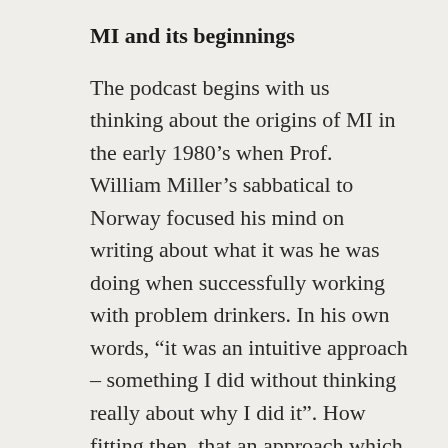MI and its beginnings
The podcast begins with us thinking about the origins of MI in the early 1980’s when Prof. William Miller’s sabbatical to Norway focused his mind on writing about what it was he was doing when successfully working with problem drinkers. In his own words, “it was an intuitive approach – something I did without thinking really about why I did it”. How fitting then, that an approach which